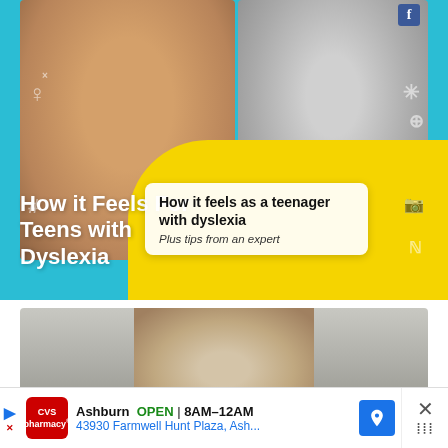[Figure (photo): Screenshot of a social media post featuring two women (one older woman with blonde hair against a teal background, one younger woman in black and white), with a yellow blob overlay, a tooltip card reading 'How it feels as a teenager with dyslexia / Plus tips from an expert', and a white overlay text reading 'How it Feels For Teens with Dyslexia'. Below is a second photo showing a woman with highlighted hair. At the bottom is a CVS Pharmacy advertisement for Ashburn location.]